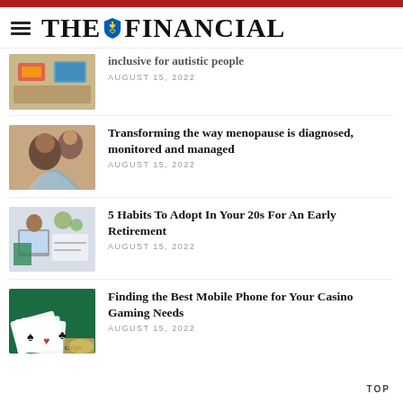THE FINANCIAL
inclusive for autistic people
AUGUST 15, 2022
Transforming the way menopause is diagnosed, monitored and managed
AUGUST 15, 2022
5 Habits To Adopt In Your 20s For An Early Retirement
AUGUST 15, 2022
Finding the Best Mobile Phone for Your Casino Gaming Needs
AUGUST 15, 2022
TOP